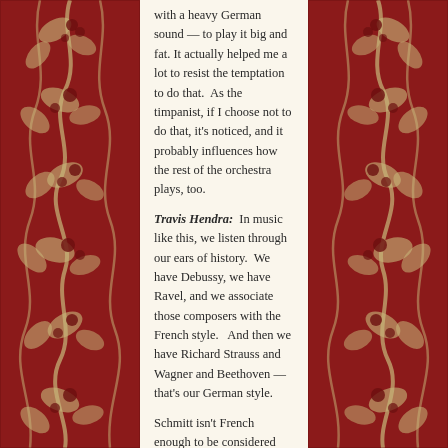with a heavy German sound — to play it big and fat. It actually helped me a lot to resist the temptation to do that.  As the timpanist, if I choose not to do that, it's noticed, and it probably influences how the rest of the orchestra plays, too.
Travis Hendra:  In music like this, we listen through our ears of history.  We have Debussy, we have Ravel, and we associate those composers with the French style.   And then we have Richard Strauss and Wagner and Beethoven — that's our German style.
Schmitt isn't French enough to be considered with Debussy and Ravel, and yet he isn't German enough to be considered with Strauss.  And you can tell, because in his music, he straddles this world.
Schmitt was born in the Lorraine region of France, so you have to wonder if there was an internal conflict (despite his French musical training) —
[Figure (illustration): Decorative red and cream floral/vine border panel on the left side of the page]
[Figure (illustration): Decorative red and cream floral/vine border panel on the right side of the page]